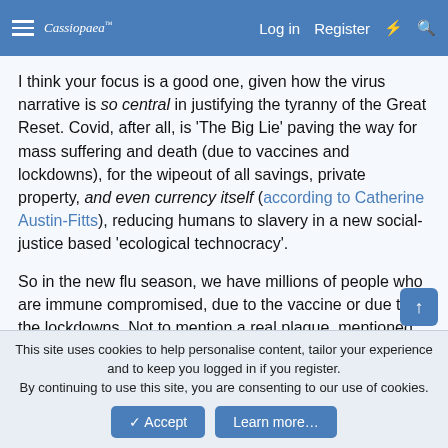Cassiopaea | Log in | Register
I think your focus is a good one, given how the virus narrative is so central in justifying the tyranny of the Great Reset. Covid, after all, is 'The Big Lie' paving the way for mass suffering and death (due to vaccines and lockdowns), for the wipeout of all savings, private property, and even currency itself (according to Catherine Austin-Fitts), reducing humans to slavery in a new social-justice based 'ecological technocracy'.
So in the new flu season, we have millions of people who are immune compromised, due to the vaccine or due to the lockdowns. Not to mention a real plague, mentioned by the C's. Even with a functional medical system, it would be utter
This site uses cookies to help personalise content, tailor your experience and to keep you logged in if you register.
By continuing to use this site, you are consenting to our use of cookies.